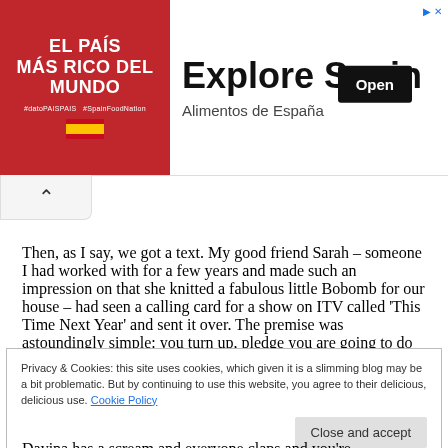[Figure (other): Advertisement banner for 'Explore Spain' / Alimentos de España with red left panel showing 'El País Más Rico Del Mundo' and right panel with 'Explore Spain' headline and 'Open' button]
Then, as I say, we got a text. My good friend Sarah – someone I had worked with for a few years and made such an impression on that she knitted a fabulous little Bobomb for our house – had seen a calling card for a show on ITV called 'This Time Next Year' and sent it over. The premise was astoundingly simple: you turn up, pledge you are going to do something dramatic
Privacy & Cookies: this site uses cookies, which given it is a slimming blog may be a bit problematic. But by continuing to use this website, you agree to their delicious, delicious use. Cookie Policy
Davina has a scream and everyone claps and you're